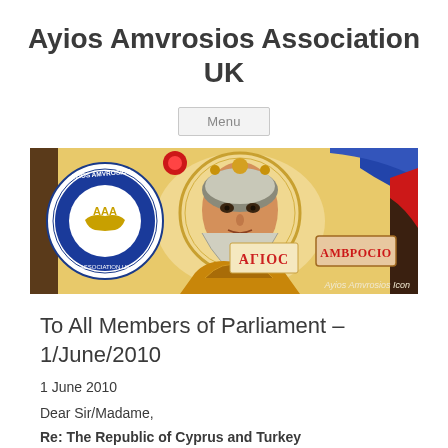Ayios Amvrosios Association UK
Menu
[Figure (illustration): Banner image showing an Orthodox icon of Ayios Amvrosios with a circular logo of Ayios Amvrosios Association UK on the left, Greek text 'ΑΓΙΟC' and 'ΑΜΒΡΟCΙΟ' labels, golden decorative background, and caption 'Ayios Amvrosios Icon' in the bottom right corner.]
To All Members of Parliament – 1/June/2010
1 June 2010
Dear Sir/Madame,
Re: The Republic of Cyprus and Turkey